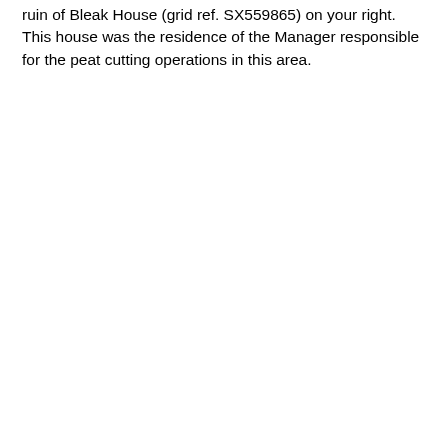ruin of Bleak House (grid ref. SX559865) on your right. This house was the residence of the Manager responsible for the peat cutting operations in this area.